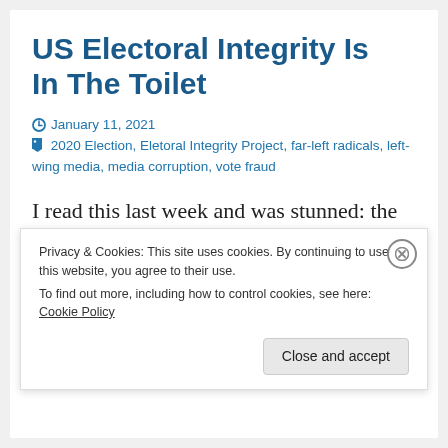US Electoral Integrity Is In The Toilet
January 11, 2021  2020 Election, Eletoral Integrity Project, far-left radicals, left-wing media, media corruption, vote fraud
I read this last week and was stunned: the US “rated lower than any other long-established democracies and affluent societies” when
Privacy & Cookies: This site uses cookies. By continuing to use this website, you agree to their use.
To find out more, including how to control cookies, see here: Cookie Policy
Close and accept